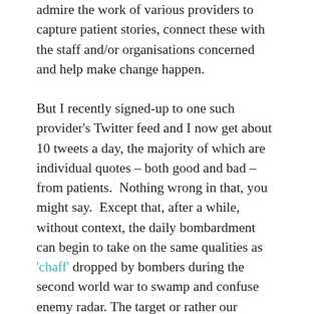admire the work of various providers to capture patient stories, connect these with the staff and/or organisations concerned and help make change happen.
But I recently signed-up to one such provider's Twitter feed and I now get about 10 tweets a day, the majority of which are individual quotes – both good and bad – from patients.  Nothing wrong in that, you might say.  Except that, after a while, without context, the daily bombardment can begin to take on the same qualities as 'chaff' dropped by bombers during the second world war to swamp and confuse enemy radar. The target or rather our purpose can become less rather than more clear because of it.  Handled